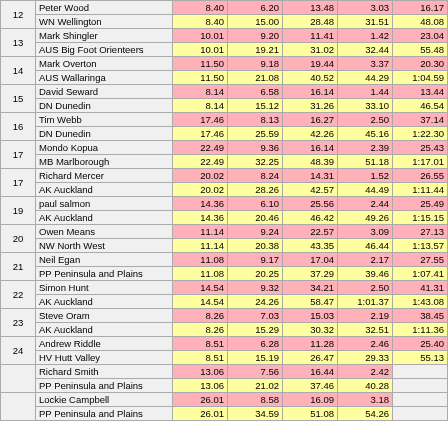| Rank | Name/Club | Leg1 | Leg2 | Leg3 | Leg4 | Leg5 | Leg6 |
| --- | --- | --- | --- | --- | --- | --- | --- |
| 12 | Peter Wood | 8.40 | 6.20 | 13.48 | 3.03 | 16.17 | 2... |
|  | WN Wellington | 8.40 | 15.00 | 28.48 | 31.51 | 48.08 | 51... |
| 13 | Mark Shingler | 10.01 | 9.20 | 11.41 | 1.42 | 23.04 | 2... |
|  | AUS Big Foot Orienteers | 10.01 | 19.21 | 31.02 | 32.44 | 55.48 | 58... |
| 14 | Mark Overton | 11.50 | 9.18 | 19.44 | 3.37 | 20.30 | 3... |
|  | AUS Wallaringa | 11.50 | 21.08 | 40.52 | 44.29 | 1:04.59 | 1:08... |
| 15 | David Seward | 8.14 | 6.58 | 16.14 | 1.44 | 13.44 | 2... |
|  | DN Dunedin | 8.14 | 15.12 | 31.26 | 33.10 | 46.54 | 49... |
| 16 | Tim Webb | 17.46 | 8.13 | 16.27 | 2.50 | 37.14 | 4... |
|  | DN Dunedin | 17.46 | 25.59 | 42.26 | 45.16 | 1:22.30 | 1:27... |
| 17 | Mondo Kopua | 22.49 | 9.36 | 16.14 | 2.39 | 25.43 | 3... |
|  | MB Marlborough | 22.49 | 32.25 | 48.39 | 51.18 | 1:17.01 | 1:20... |
| 17 | Richard Mercer | 20.02 | 8.24 | 14.31 | 1.52 | 26.55 | 3... |
|  | AK Auckland | 20.02 | 28.26 | 42.57 | 44.49 | 1:11.44 | 1:14... |
| 19 | paul salmon | 14.36 | 6.10 | 25.56 | 2.44 | 25.49 | 4... |
|  | AK Auckland | 14.36 | 20.46 | 46.42 | 49.26 | 1:15.15 | 1:19... |
| 20 | Owen Means | 11.14 | 9.24 | 22.57 | 3.09 | 27.13 | 4... |
|  | NW North West | 11.14 | 20.38 | 43.35 | 46.44 | 1:13.57 | 1:18... |
| 21 | Neil Egan | 11.08 | 9.17 | 17.04 | 2.17 | 27.55 | 3... |
|  | PP Peninsula and Plains | 11.08 | 20.25 | 37.29 | 39.46 | 1:07.41 | 1:11... |
| 22 | Simon Hunt | 14.54 | 9.32 | 34.21 | 2.50 | 41.31 | 3... |
|  | AK Auckland | 14.54 | 24.26 | 58.47 | 1:01.37 | 1:43.08 | 1:46... |
| 23 | Steve Oram | 8.26 | 7.03 | 15.03 | 2.19 | 38.45 | 2... |
|  | AK Auckland | 8.26 | 15.29 | 30.32 | 32.51 | 1:11.36 | 1:14... |
| 24 | Andrew Riddle | 8.51 | 6.28 | 11.28 | 2.46 | 25.40 | 3... |
|  | HV Hutt Valley | 8.51 | 15.19 | 26.47 | 29.33 | 55.13 | 58... |
|  | Richard Smith | 13.06 | 7.56 | 16.44 | 2.42 |  |  |
|  | PP Peninsula and Plains | 13.06 | 21.02 | 37.46 | 40.28 |  |  |
|  | Lockie Campbell | 26.01 | 8.58 | 16.09 | 3.18 |  |  |
|  | PP Peninsula and Plains | 26.01 | 34.59 | 51.08 | 54.26 |  |  |